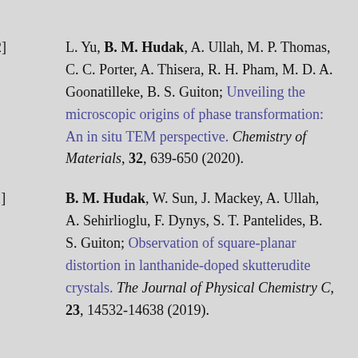[12]    L. Yu, B. M. Hudak, A. Ullah, M. P. Thomas, C. C. Porter, A. Thisera, R. H. Pham, M. D. A. Goonatilleke, B. S. Guiton; Unveiling the microscopic origins of phase transformation: An in situ TEM perspective. Chemistry of Materials, 32, 639-650 (2020).
[11]    B. M. Hudak, W. Sun, J. Mackey, A. Ullah, A. Sehirlioglu, F. Dynys, S. T. Pantelides, B. S. Guiton; Observation of square-planar distortion in lanthanide-doped skutterudite crystals. The Journal of Physical Chemistry C, 23, 14532-14638 (2019).